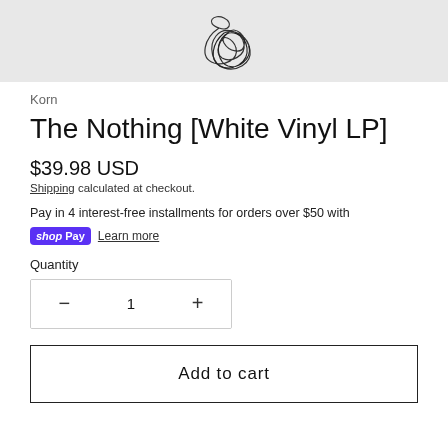[Figure (illustration): Product image with abstract scribble/tangle line art on light gray background, partially visible (cropped at top)]
Korn
The Nothing [White Vinyl LP]
$39.98 USD
Shipping calculated at checkout.
Pay in 4 interest-free installments for orders over $50 with
shop Pay  Learn more
Quantity
1
Add to cart